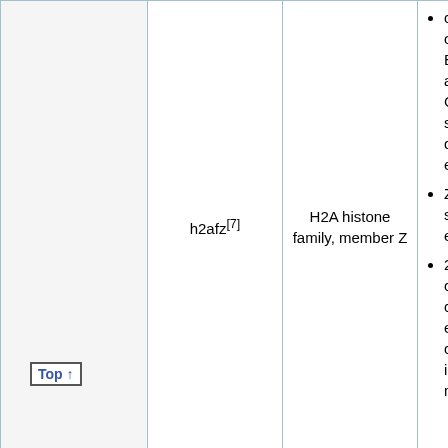|  | Gene | Name | Expression |
| --- | --- | --- | --- |
|  | h2afz[7] | H2A histone family, member Z | cultures of B6D2F-1 and C57BL/6 strain-derived embryos
Zygote stage embryos
2-cell, 4-cell, 8-cell stage embryos cultured in M16 medium |
|  | sptbn[7] | Pectrin beta, non-erythrocytic 1 | ICR strain-derived embryos |
Top ↑